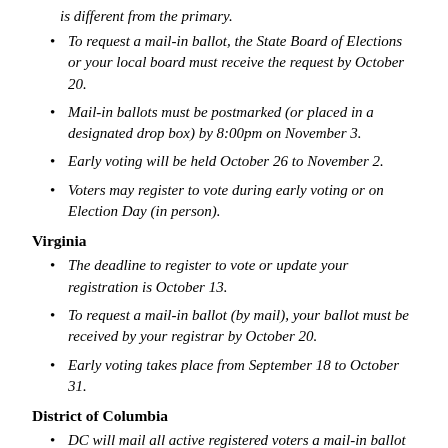is different from the primary.
To request a mail-in ballot, the State Board of Elections or your local board must receive the request by October 20.
Mail-in ballots must be postmarked (or placed in a designated drop box) by 8:00pm on November 3.
Early voting will be held October 26 to November 2.
Voters may register to vote during early voting or on Election Day (in person).
Virginia
The deadline to register to vote or update your registration is October 13.
To request a mail-in ballot (by mail), your ballot must be received by your registrar by October 20.
Early voting takes place from September 18 to October 31.
District of Columbia
DC will mail all active registered voters a mail-in ballot at their registered address during the first week of October.